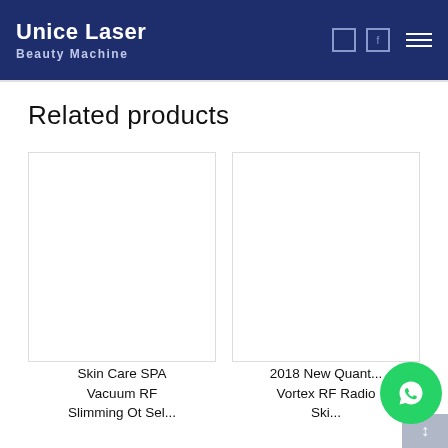Unice Laser Beauty Machine
Related products
[Figure (photo): Product card placeholder image area for 'Skin Care SPA Vacuum RF' product]
Skin Care SPA Vacuum RF Slimming Ot Sel...
[Figure (photo): Product card placeholder image area for '2018 New Quant... Vortex RF Radio' product]
2018 New Quant... Vortex RF Radio Ski...